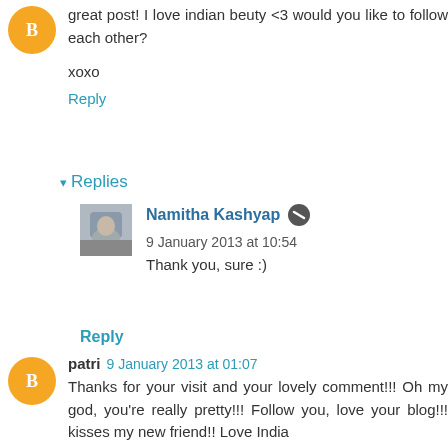great post! I love indian beuty <3 would you like to follow each other?
xoxo
Reply
Replies
Namitha Kashyap  9 January 2013 at 10:54
Thank you, sure :)
Reply
patri  9 January 2013 at 01:07
Thanks for your visit and your lovely comment!!! Oh my god, you're really pretty!!! Follow you, love your blog!!! kisses my new friend!! Love India
VOGUECITA
http://voguecita.blogspot.com